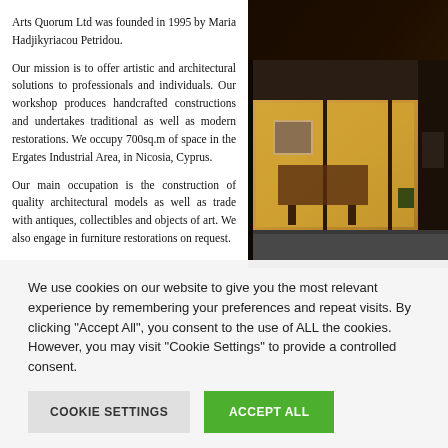Arts Quorum Ltd was founded in 1995 by Maria Hadjikyriacou Petridou.
Our mission is to offer artistic and architectural solutions to professionals and individuals. Our workshop produces handcrafted constructions and undertakes traditional as well as modern restorations. We occupy 700sq.m of space in the Ergates Industrial Area, in Nicosia, Cyprus.
Our main occupation is the construction of quality architectural models as well as trade with antiques, collectibles and objects of art. We also engage in furniture restorations on request.
[Figure (photo): Nighttime exterior photo of Arts Quorum shop front showing illuminated interior with antique furniture and art objects visible through large windows]
We use cookies on our website to give you the most relevant experience by remembering your preferences and repeat visits. By clicking "Accept All", you consent to the use of ALL the cookies. However, you may visit "Cookie Settings" to provide a controlled consent.